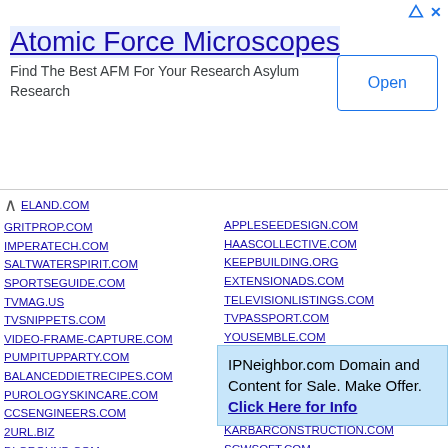[Figure (other): Advertisement banner: Atomic Force Microscopes - Find The Best AFM For Your Research Asylum Research, with Open button]
ELAND.COM
GRITPROP.COM
IMPERATECH.COM
SALTWATERSPIRIT.COM
SPORTSEGUIDE.COM
TVMAG.US
TVSNIPPETS.COM
VIDEO-FRAME-CAPTURE.COM
PUMPITUPPARTY.COM
BALANCEDDIETRECIPES.COM
PUROLOGYSKINCARE.COM
CCSENGINEERS.COM
2URL.BIZ
DLGROUND.COM
INHOWTOVIDEOS.COM
FRIENDSANDSURVEYS.COM
BUYNATURALWAVES.COM
BUYTOINVEST.COM
JOBS2SPOT.COM
BUSINESSIMMIGRATIONSOLUTIONS.C...
DIVERXMASKS.COM
GOTOUSA.ORG
APPLESEEDESIGN.COM
HAASCOLLECTIVE.COM
KEEPBUILDING.ORG
EXTENSIONADS.COM
TELEVISIONLISTINGS.COM
TVPASSPORT.COM
YOUSEMBLE.COM
PANELPAYDAY.COM
PIUCENTRAL.COM
SWHCLOUD.COM
BOUNCEU.COM
KARBARCONSTRUCTION.COM
SGWSOFT.COM
RSSFEEDSGENERATOR.COM
MGSHADOW.COM
SURVEYSJUNCTION.COM
PAIDSURVEYDEPOT.COM
IPNeighbor.com Domain and Content for Sale. Make Offer. Click Here for Info